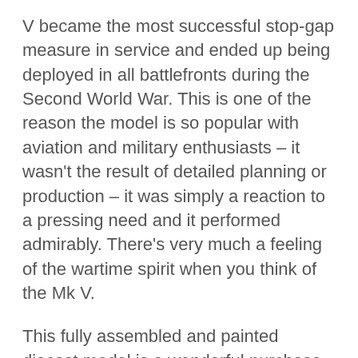V became the most successful stop-gap measure in service and ended up being deployed in all battlefronts during the Second World War. This is one of the reason the model is so popular with aviation and military enthusiasts – it wasn't the result of detailed planning or production – it was simply a reaction to a pressing need and it performed admirably. There's very much a feeling of the wartime spirit when you think of the Mk V.
This fully assembled and painted diecast model is a wonderful purchase for any aviation enthusiast who may not be as interested in building the model from scratch. It's a perfect recreation of the Spitfire Mk VB and a great example of this classic aircraft.